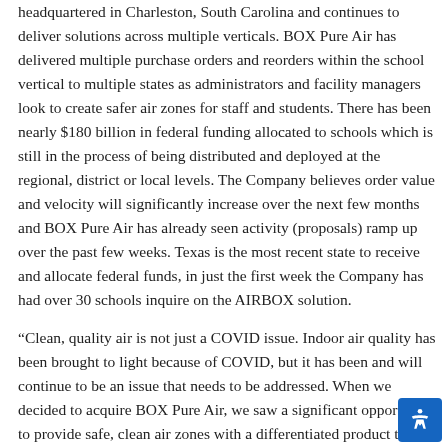headquartered in Charleston, South Carolina and continues to deliver solutions across multiple verticals. BOX Pure Air has delivered multiple purchase orders and reorders within the school vertical to multiple states as administrators and facility managers look to create safer air zones for staff and students. There has been nearly $180 billion in federal funding allocated to schools which is still in the process of being distributed and deployed at the regional, district or local levels. The Company believes order value and velocity will significantly increase over the next few months and BOX Pure Air has already seen activity (proposals) ramp up over the past few weeks. Texas is the most recent state to receive and allocate federal funds, in just the first week the Company has had over 30 schools inquire on the AIRBOX solution.
“Clean, quality air is not just a COVID issue. Indoor air quality has been brought to light because of COVID, but it has been and will continue to be an issue that needs to be addressed. When we decided to acquire BOX Pure Air, we saw a significant opportunity to provide safe, clean air zones with a differentiated product that meets all the necessary certifications,” commented Wil Ralston, CEO of SinglePoint. “Since the acquisition, the value and potential of BOX Pure Air has continued to grow exponentially.